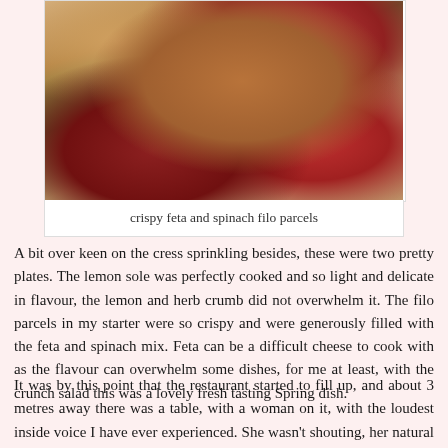[Figure (photo): A plated dish of crispy feta and spinach filo parcels on a white plate with salad greens, cherry tomatoes, and red berry sauce drizzled around.]
crispy feta and spinach filo parcels
A bit over keen on the cress sprinkling besides, these were two pretty plates. The lemon sole was perfectly cooked and so light and delicate in flavour, the lemon and herb crumb did not overwhelm it. The filo parcels in my starter were so crispy and were generously filled with the feta and spinach mix. Feta can be a difficult cheese to cook with as the flavour can overwhelm some dishes, for me at least, with the crunch salad this was a lovely fresh tasting Spring dish.
It was by this point that the restaurant started to fill up, and about 3 metres away there was a table, with a woman on it, with the loudest inside voice I have ever experienced. She wasn't shouting, her natural speaking voice just felt like she was. If I had been party